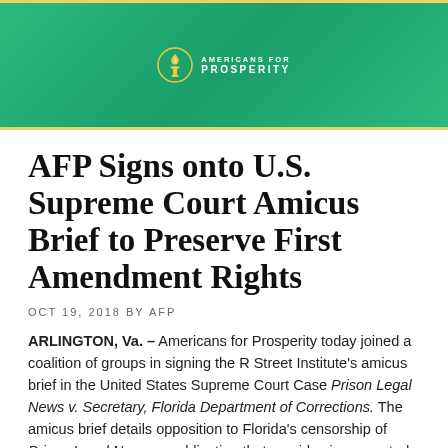[Figure (logo): Americans for Prosperity logo with torch icon on green gradient banner with gold border lines]
AFP Signs onto U.S. Supreme Court Amicus Brief to Preserve First Amendment Rights
OCT 19, 2018 BY AFP
ARLINGTON, Va. – Americans for Prosperity today joined a coalition of groups in signing the R Street Institute's amicus brief in the United States Supreme Court Case Prison Legal News v. Secretary, Florida Department of Corrections. The amicus brief details opposition to Florida's censorship of Prison Legal News, a publication that provides incarcerated individuals the opportunity to educate themselves about their civil rights. Denying individuals access to the publication due to incarceration status is in direct violation of their First Amendment rights.